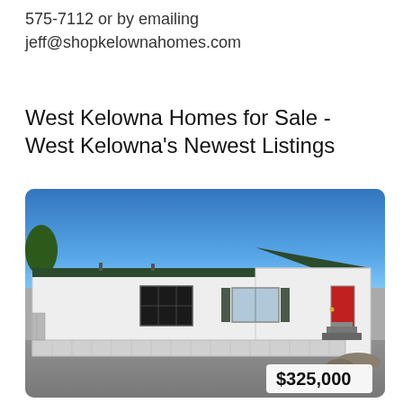575-7112 or by emailing
jeff@shopkelownahomes.com
West Kelowna Homes for Sale - West Kelowna's Newest Listings
[Figure (photo): Exterior photo of a white manufactured/mobile home with green roof trim, red front door, steps leading to entry, large windows, metal skirting, and a paved driveway in front. Blue sky background. Price badge showing $325,000 in lower right corner.]